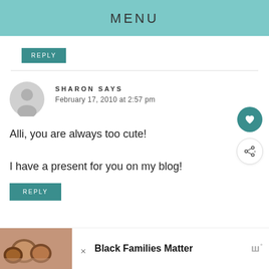MENU
REPLY
SHARON SAYS
February 17, 2010 at 2:57 pm
Alli, you are always too cute!

I have a present for you on my blog!
REPLY
[Figure (infographic): Ad banner: photo of smiling family with 'Black Families Matter' text and media brand logo]
Black Families Matter